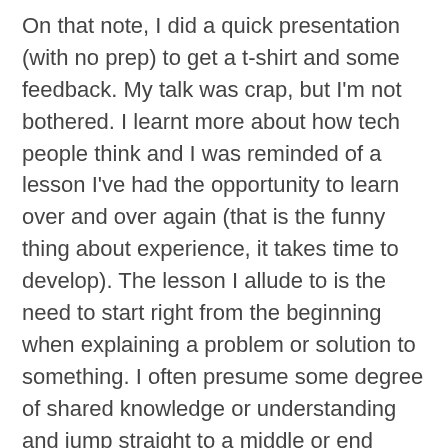On that note, I did a quick presentation (with no prep) to get a t-shirt and some feedback. My talk was crap, but I'm not bothered. I learnt more about how tech people think and I was reminded of a lesson I've had the opportunity to learn over and over again (that is the funny thing about experience, it takes time to develop). The lesson I allude to is the need to start right from the beginning when explaining a problem or solution to something. I often presume some degree of shared knowledge or understanding and jump straight to a middle or end thought. In my experience, this approach has never, ever, worked! Start from step (A) always, but you can vary how long you take to get from (A) to (Z).
Back to BCS3. I also enjoyed Brett Welch's talk about how GoodBarry has faired since the last BarCampSydney. GoodBarry is an integrated system for running an online business. It is pretty cool the way